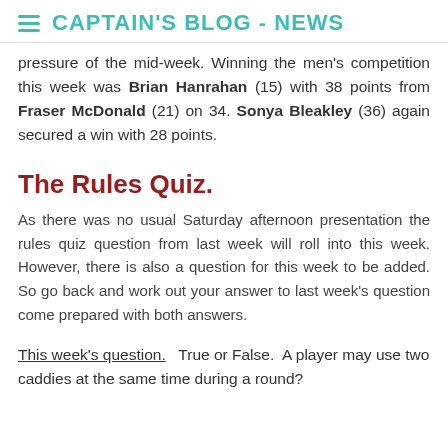CAPTAIN'S BLOG - NEWS
pressure of the mid-week. Winning the men's competition this week was Brian Hanrahan (15) with 38 points from Fraser McDonald (21) on 34. Sonya Bleakley (36) again secured a win with 28 points.
The Rules Quiz.
As there was no usual Saturday afternoon presentation the rules quiz question from last week will roll into this week. However, there is also a question for this week to be added. So go back and work out your answer to last week's question come prepared with both answers.
This week's question.  True or False.  A player may use two caddies at the same time during a round?